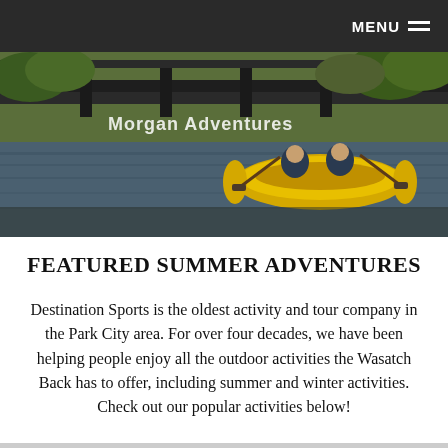MENU
[Figure (photo): People kayaking in a yellow inflatable raft on a river under a railroad bridge, with green trees in the background. Text overlay reads 'Morgan Adventures'.]
FEATURED SUMMER ADVENTURES
Destination Sports is the oldest activity and tour company in the Park City area. For over four decades, we have been helping people enjoy all the outdoor activities the Wasatch Back has to offer, including summer and winter activities. Check out our popular activities below!